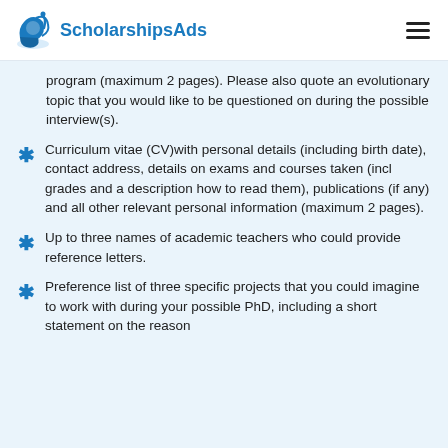ScholarshipsAds
program (maximum 2 pages). Please also quote an evolutionary topic that you would like to be questioned on during the possible interview(s).
Curriculum vitae (CV)with personal details (including birth date), contact address, details on exams and courses taken (incl grades and a description how to read them), publications (if any) and all other relevant personal information (maximum 2 pages).
Up to three names of academic teachers who could provide reference letters.
Preference list of three specific projects that you could imagine to work with during your possible PhD, including a short statement on the reason